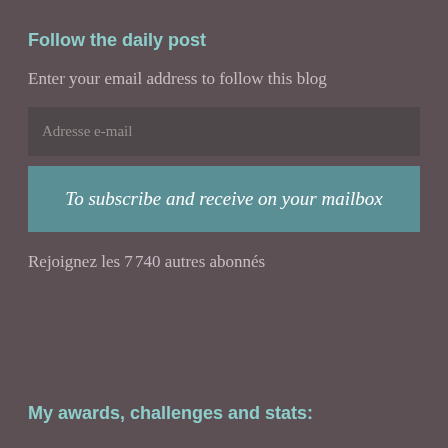Follow the daily post
Enter your email address to follow this blog
Adresse e-mail
To subscribe and receive on your mailbox
Rejoignez les 7 740 autres abonnés
My awards, challenges and stats: